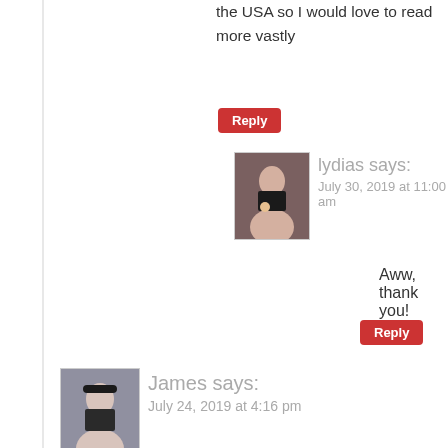especially prehistoric Africa! We noticed that most h… the USA so I would love to read more vastly
Reply
lydias says: July 30, 2019 at 11:00 am
Aww, thank you!
Reply
James says: July 24, 2019 at 4:16 pm
Great post! You have a LOT of great ideas for setting – especially in a YA or NA setting, because I'm predict
Reply
lydias says: July 30, 2019 at 11:08 am
Thank you. So glad to hear that.
Reply